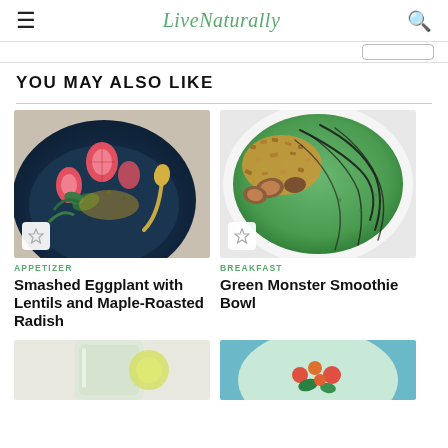LiveNaturally
YOU MAY ALSO LIKE
[Figure (photo): Smashed eggplant dish with lentils, radish, and spoon on dark blue plate]
APPETIZER
Smashed Eggplant with Lentils and Maple-Roasted Radish
[Figure (photo): Green Monster Smoothie Bowl with granola and fig toppings]
BREAKFAST
Green Monster Smoothie Bowl
[Figure (photo): Clear glass with liquid, partial bottom row]
[Figure (photo): Plate with colorful salad, partial bottom row]